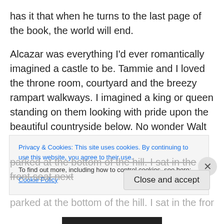has it that when he turns to the last page of the book, the world will end.
Alcazar was everything I'd ever romantically imagined a castle to be. Tammie and I loved the throne room, courtyard and the breezy rampart walkways. I imagined a king or queen standing on them looking with pride upon the beautiful countryside below. No wonder Walt Disney's Cinderella Castle resembles it.
A number of pilgrims decided to take a taxi to the tour bus parked at the bottom of the hill. I sat in the front seat next
Privacy & Cookies: This site uses cookies. By continuing to use this website, you agree to their use.
To find out more, including how to control cookies, see here: Cookie Policy